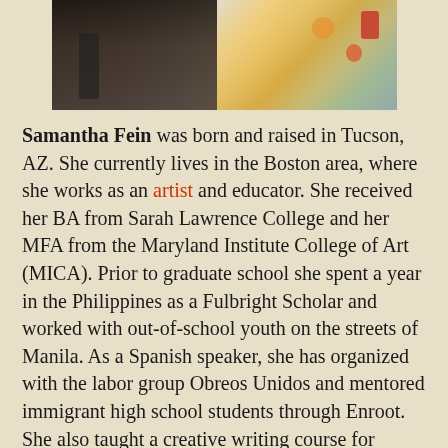[Figure (photo): Photograph showing a person's lower body seated, and a colorful floral painted surface or canvas on the right side.]
Samantha Fein was born and raised in Tucson, AZ. She currently lives in the Boston area, where she works as an artist and educator. She received her BA from Sarah Lawrence College and her MFA from the Maryland Institute College of Art (MICA). Prior to graduate school she spent a year in the Philippines as a Fulbright Scholar and worked with out-of-school youth on the streets of Manila. As a Spanish speaker, she has organized with the labor group Obreos Unidos and mentored immigrant high school students through Enroot. She also taught a creative writing course for incarcerated young men through the Right to Write program. Sam is a passionate advocate for young people in high-risk environments and is presently organizing to end institutionalized child